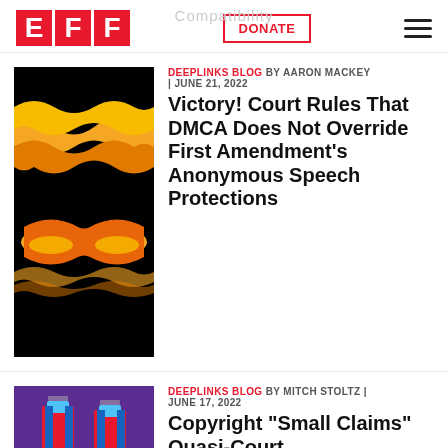EFF | Compatibility | DONATE | Menu
[Figure (illustration): Abstract black background with orange and yellow wavy ribbon forms resembling a mask or glasses shape]
DEEPLINKS BLOG BY AARON MACKEY | JUNE 21, 2022
Victory! Court Rules That DMCA Does Not Override First Amendment's Anonymous Speech Protections
[Figure (illustration): Purple background with blue and red vertical bar/column graphic elements with small labels at top]
DEEPLINKS BLOG BY MITCH STOLTZ | JUNE 17, 2022
Copyright "Small Claims" Quasi-Court